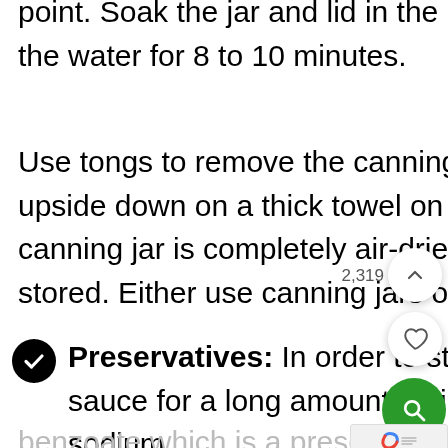point. Soak the jar and lid in the hot water then continue to boil the water for 8 to 10 minutes.
Use tongs to remove the canning jar and leave it to drain upside down on a thick towel on a kitchen tabletop. Once the canning jar is completely air-dried the tomato sauce can be stored. Either use canning jars or use heat proof glass jars.
Preservatives: In order to store this delicious tomato sauce for a long amount of time you will need to add sodium benzoate which is a preservative. The